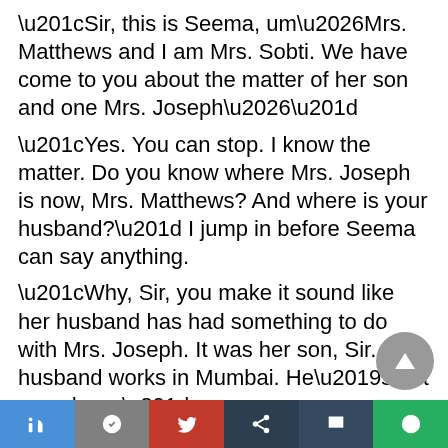“Sir, this is Seema, um…Mrs. Matthews and I am Mrs. Sobti. We have come to you about the matter of her son and one Mrs. Joseph…”
“Yes. You can stop. I know the matter. Do you know where Mrs. Joseph is now, Mrs. Matthews? And where is your husband?” I jump in before Seema can say anything.
“Why, Sir, you make it sound like her husband has had something to do with Mrs. Joseph. It was her son, Sir. Her husband works in Mumbai. He’s not even here.”
“Madam, I can’t blame you but you’ve been made a fool…”
“All lies he’s telling Madam. All lies. My Nilesh has